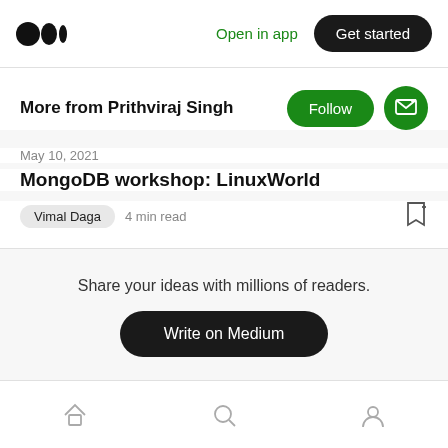Medium logo | Open in app | Get started
More from Prithviraj Singh
May 10, 2021
MongoDB workshop: LinuxWorld
Vimal Daga  4 min read
Share your ideas with millions of readers.
Write on Medium
Home | Search | Profile